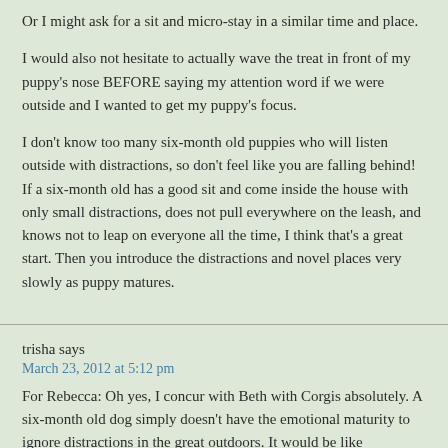Or I might ask for a sit and micro-stay in a similar time and place.
I would also not hesitate to actually wave the treat in front of my puppy's nose BEFORE saying my attention word if we were outside and I wanted to get my puppy's focus.
I don't know too many six-month old puppies who will listen outside with distractions, so don't feel like you are falling behind! If a six-month old has a good sit and come inside the house with only small distractions, does not pull everywhere on the leash, and knows not to leap on everyone all the time, I think that's a great start. Then you introduce the distractions and novel places very slowly as puppy matures.
trisha says
March 23, 2012 at 5:12 pm
For Rebecca: Oh yes, I concur with Beth with Corgis absolutely. A six-month old dog simply doesn't have the emotional maturity to ignore distractions in the great outdoors. It would be like